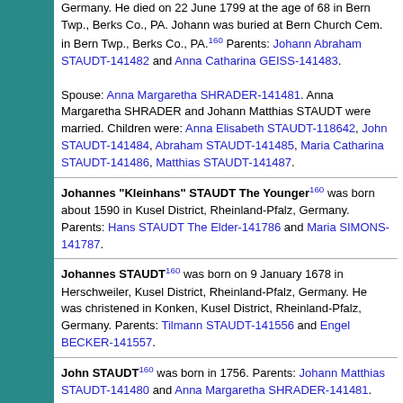Germany. He died on 22 June 1799 at the age of 68 in Bern Twp., Berks Co., PA. Johann was buried at Bern Church Cem. in Bern Twp., Berks Co., PA.160 Parents: Johann Abraham STAUDT-141482 and Anna Catharina GEISS-141483. Spouse: Anna Margaretha SHRADER-141481. Anna Margaretha SHRADER and Johann Matthias STAUDT were married. Children were: Anna Elisabeth STAUDT-118642, John STAUDT-141484, Abraham STAUDT-141485, Maria Catharina STAUDT-141486, Matthias STAUDT-141487.
Johannes "Kleinhans" STAUDT The Younger160 was born about 1590 in Kusel District, Rheinland-Pfalz, Germany. Parents: Hans STAUDT The Elder-141786 and Maria SIMONS-141787.
Johannes STAUDT160 was born on 9 January 1678 in Herschweiler, Kusel District, Rheinland-Pfalz, Germany. He was christened in Konken, Kusel District, Rheinland-Pfalz, Germany. Parents: Tilmann STAUDT-141556 and Engel BECKER-141557.
John STAUDT160 was born in 1756. Parents: Johann Matthias STAUDT-141480 and Anna Margaretha SHRADER-141481.
Katharina STAUDT160 was born about 1680 in Herschweiler, Kusel District, Rheinland-Pfalz, Germany. She was christened on 29 December 1680 in Konken, Kusel District, Rheinland-Pfalz, Germany. Parents: Tilmann STAUDT-141556 and Engel...